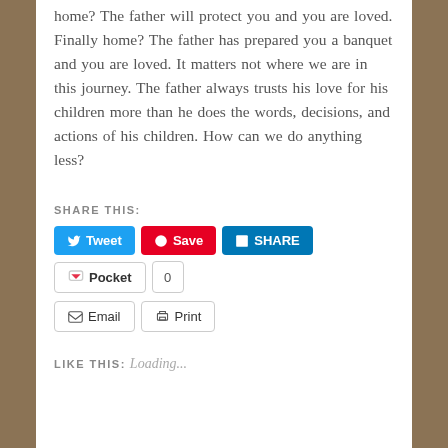home? The father will protect you and you are loved. Finally home? The father has prepared you a banquet and you are loved. It matters not where we are in this journey. The father always trusts his love for his children more than he does the words, decisions, and actions of his children. How can we do anything less?
SHARE THIS:
LIKE THIS:
Loading...